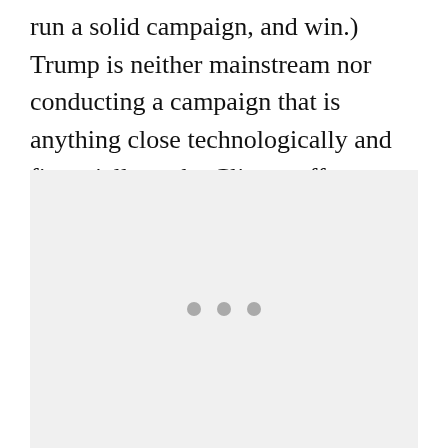run a solid campaign, and win.) Trump is neither mainstream nor conducting a campaign that is anything close technologically and financially to the Clinton effort.
[Figure (other): A light gray placeholder image area with three small gray dots centered near the bottom portion of the region.]